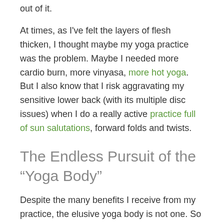out of it.
At times, as I've felt the layers of flesh thicken, I thought maybe my yoga practice was the problem. Maybe I needed more cardio burn, more vinyasa, more hot yoga. But I also know that I risk aggravating my sensitive lower back (with its multiple disc issues) when I do a really active practice full of sun salutations, forward folds and twists.
The Endless Pursuit of the “Yoga Body”
Despite the many benefits I receive from my practice, the elusive yoga body is not one. So I have incorporated a new body practice into my daily life, a seven-minute workout, which I read about in the NY Times and then immediately...